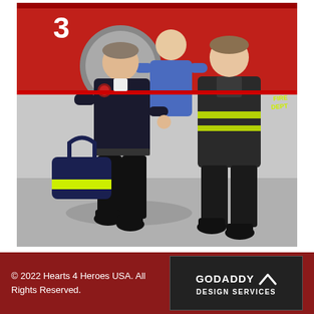[Figure (photo): Two firefighters standing in front of a red fire truck numbered 3. The firefighter on the left is older, wearing a dark uniform and carrying a navy duffel bag with yellow/neon green stripes. The firefighter on the right is younger, wearing dark firefighter gear with yellow reflective stripes. A third person in a blue shirt is partially visible in the background.]
© 2022 Hearts 4 Heroes USA. All Rights Reserved.